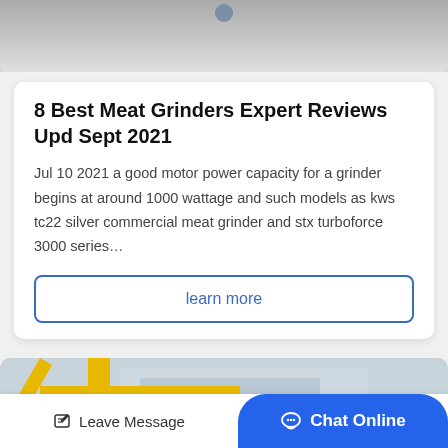[Figure (photo): Top portion of a gray/concrete floor or surface photo, cropped]
8 Best Meat Grinders Expert Reviews Upd Sept 2021
Jul 10 2021 a good motor power capacity for a grinder begins at around 1000 wattage and such models as kws tc22 silver commercial meat grinder and stx turboforce 3000 series…
learn more
[Figure (photo): Industrial equipment photo with yellow crane structure, green cylindrical tank, blue pipe, and building in background. Rocket emoji overlay in bottom right.]
Leave Message
Chat Online